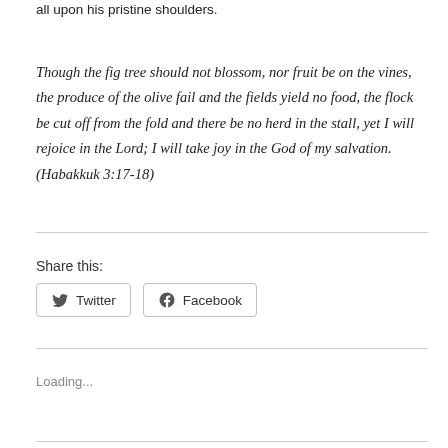all upon his pristine shoulders.
Though the fig tree should not blossom, nor fruit be on the vines, the produce of the olive fail and the fields yield no food, the flock be cut off from the fold and there be no herd in the stall, yet I will rejoice in the Lord; I will take joy in the God of my salvation.  (Habakkuk 3:17-18)
Share this:
Twitter
Facebook
Loading...